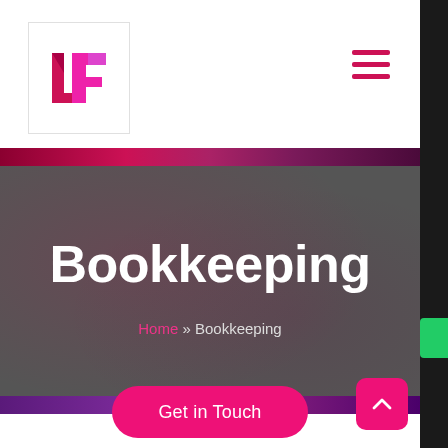[Figure (logo): LF logo in pink/magenta geometric letterforms inside a square border]
[Figure (infographic): Hamburger menu icon with three horizontal pink/red bars]
Bookkeeping
Home » Bookkeeping
Get in Touch